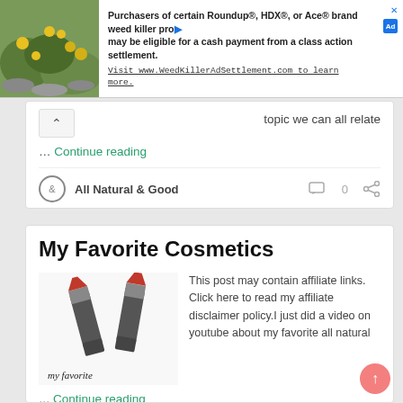[Figure (screenshot): Advertisement banner for WeedKillerAdSettlement.com with a photo of yellow flowers/plants on the left and text about Roundup, HDX, Ace brand weed killer class action settlement.]
topic we can all relate
… Continue reading
All Natural & Good
0
My Favorite Cosmetics
[Figure (photo): Two red lipstick tubes on a white background with handwritten text 'my favorite' at the bottom]
This post may contain affiliate links. Click here to read my affiliate disclaimer policy.I just did a video on youtube about my favorite all natural … Continue reading